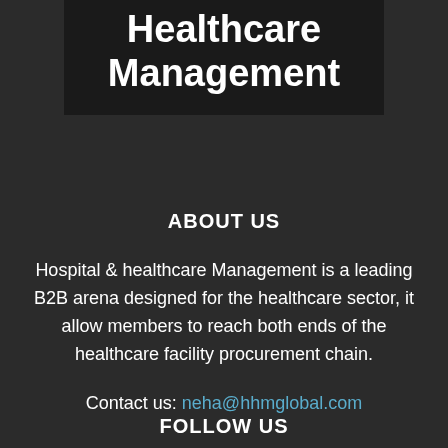[Figure (logo): Hospital & Healthcare Management logo banner with bold white text on dark background, partially cropped at top]
ABOUT US
Hospital & healthcare Management is a leading B2B arena designed for the healthcare sector, it allow members to reach both ends of the healthcare facility procurement chain.
Contact us: neha@hhmglobal.com
FOLLOW US